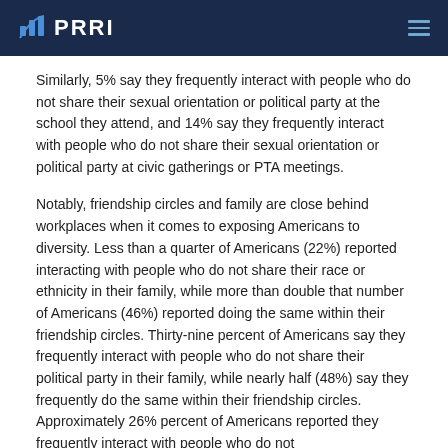PRRI
Similarly, 5% say they frequently interact with people who do not share their sexual orientation or political party at the school they attend, and 14% say they frequently interact with people who do not share their sexual orientation or political party at civic gatherings or PTA meetings.
Notably, friendship circles and family are close behind workplaces when it comes to exposing Americans to diversity. Less than a quarter of Americans (22%) reported interacting with people who do not share their race or ethnicity in their family, while more than double that number of Americans (46%) reported doing the same within their friendship circles. Thirty-nine percent of Americans say they frequently interact with people who do not share their political party in their family, while nearly half (48%) say they frequently do the same within their friendship circles. Approximately 26% percent of Americans reported they frequently interact with people who do not